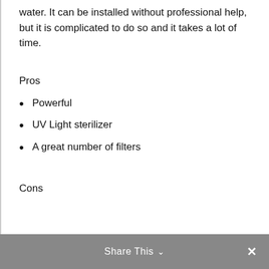water. It can be installed without professional help, but it is complicated to do so and it takes a lot of time.
Pros
Powerful
UV Light sterilizer
A great number of filters
Cons
Share This ∨  ✕